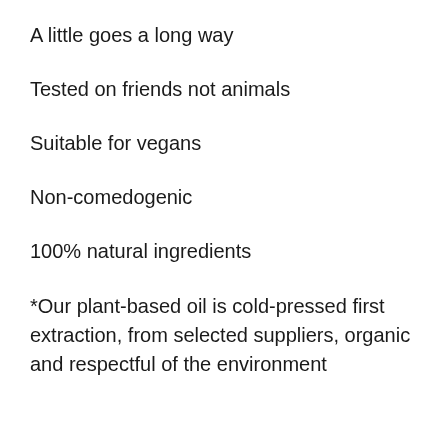A little goes a long way
Tested on friends not animals
Suitable for vegans
Non-comedogenic
100% natural ingredients
*Our plant-based oil is cold-pressed first extraction, from selected suppliers, organic and respectful of the environment